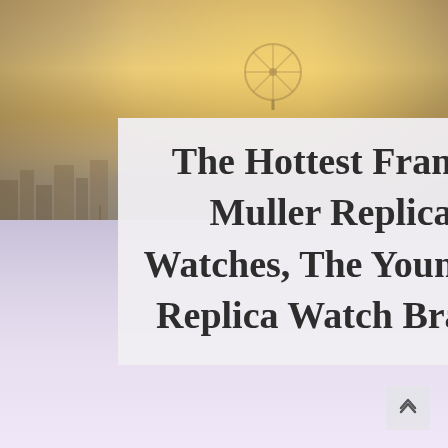[Figure (photo): Background photo split in two halves: top half shows a city boardwalk/waterfront at golden hour with a ferris wheel and skyline; bottom half shows a soft purple-lavender sky/horizon scene.]
The Hottest Franck Muller Replica Watches, The Youngest Replica Watch Brand